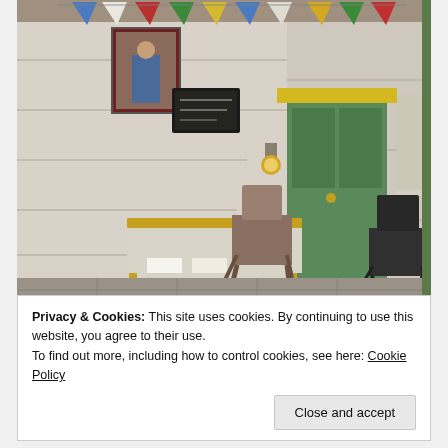[Figure (photo): Interior of a whitewashed stone building with colorful prayer flags or bunting hanging near the ceiling. There is a framed picture on the wall, a small dark chalkboard sign, a metal work table, two chairs, a green door with papers pinned to nearby noticeboards, and a wall-mounted lamp. Rough stone tile floor.]
Privacy & Cookies: This site uses cookies. By continuing to use this website, you agree to their use.
To find out more, including how to control cookies, see here: Cookie Policy